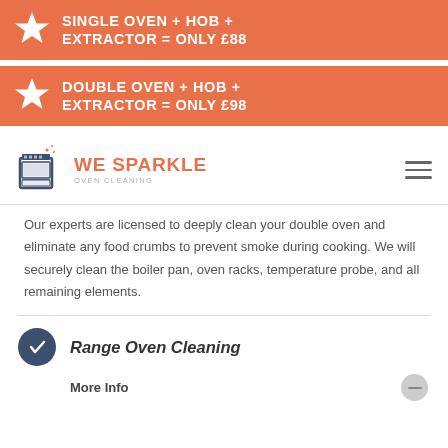SINGLE OVEN + HOB + EXTRACTOR = ONLY £88
DOUBLE OVEN + HOB + EXTRACTOR = ONLY £98
[Figure (logo): We Sparkle Oven Cleaning logo with oven icon and sparkle stars]
Our experts are licensed to deeply clean your double oven and eliminate any food crumbs to prevent smoke during cooking. We will securely clean the boiler pan, oven racks, temperature probe, and all remaining elements.
Range Oven Cleaning
More Info